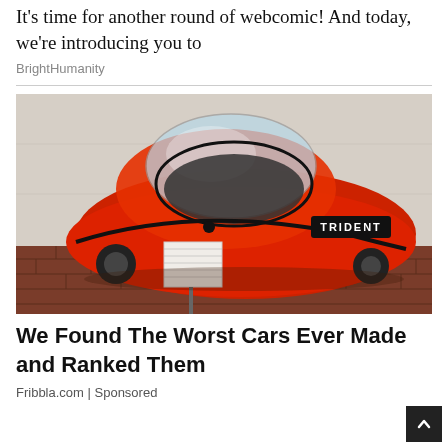It's time for another round of webcomic! And today, we're introducing you to
BrightHumanity
[Figure (photo): A small red bubble car labeled TRIDENT on display in a museum, with a clear dome top and brick floor, with an information placard nearby.]
We Found The Worst Cars Ever Made and Ranked Them
Fribbla.com | Sponsored